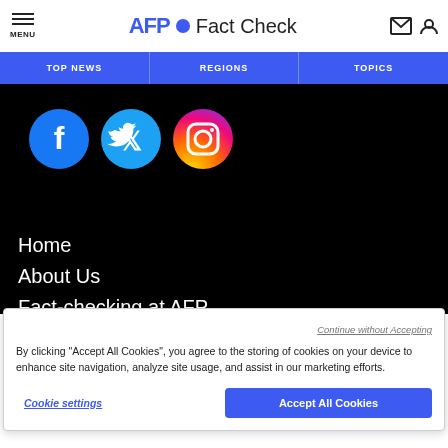AFP Fact Check
TOP NEWS | REGIONS | TOPICS
[Figure (illustration): Social media icons: Facebook, Twitter, Instagram circular icons on black background]
Home
About Us
Fact-checking at AFP
Continue without Accepting
By clicking “Accept All Cookies”, you agree to the storing of cookies on your device to enhance site navigation, analyze site usage, and assist in our marketing efforts.
Cookie settings
Accept All Cookies